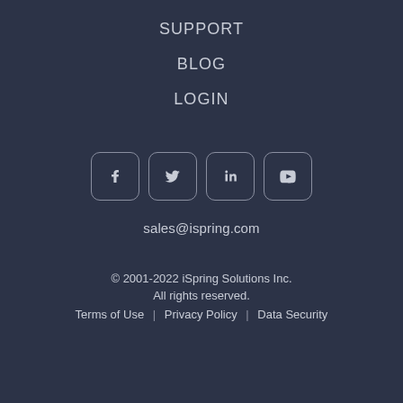SUPPORT
BLOG
LOGIN
[Figure (other): Social media icon buttons for Facebook, Twitter, LinkedIn, and YouTube, arranged horizontally with rounded rectangle borders]
sales@ispring.com
© 2001-2022 iSpring Solutions Inc. All rights reserved. Terms of Use | Privacy Policy | Data Security